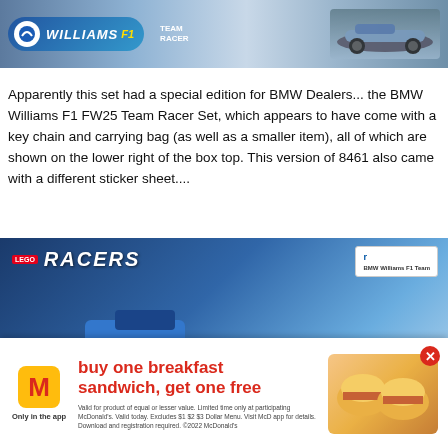[Figure (photo): Williams F1 Team Racer set box top showing Williams logo and F1 car in blue/silver colors]
Apparently this set had a special edition for BMW Dealers... the BMW Williams F1 FW25 Team Racer Set, which appears to have come with a key chain and carrying bag (as well as a smaller item), all of which are shown on the lower right of the box top.  This version of 8461 also came with a different sticker sheet....
[Figure (photo): Lego Racers BMW Williams F1 Team box showing a blue F1 Lego car with Lego Racers logo and BMW Williams F1 Team badge, partially overlapped by a McDonald's advertisement for buy one breakfast sandwich get one free]
[Figure (photo): McDonald's advertisement overlay: buy one breakfast sandwich, get one free. Only in the app. Valid for product of equal or lesser value. Limited time only at participating McDonald's. Valid today. Excludes $1 $2 $3 Dollar Menu. Visit McD app for details. Download and registration required. ©2022 McDonald's]